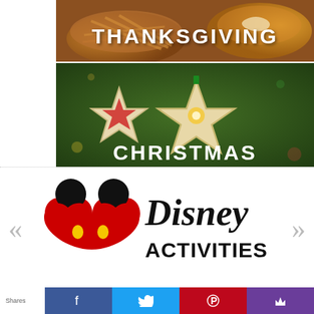[Figure (photo): Thanksgiving food image with pies and text overlay reading THANKSGIVING]
[Figure (photo): Christmas ornament cookies star shapes on tree with text overlay reading CHRISTMAS]
[Figure (logo): Disney Activities logo with Mickey Mouse heart icon and Disney Activities text, flanked by carousel navigation arrows]
Shares
[Figure (infographic): Social share bar with Facebook, Twitter, Pinterest, and crown/Stumbleupon buttons]